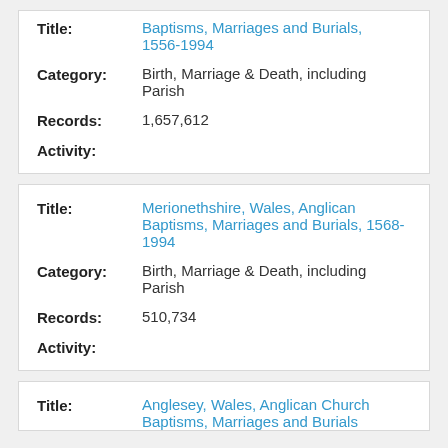Title: Baptisms, Marriages and Burials, 1556-1994
Category: Birth, Marriage & Death, including Parish
Records: 1,657,612
Activity:
Title: Merionethshire, Wales, Anglican Baptisms, Marriages and Burials, 1568-1994
Category: Birth, Marriage & Death, including Parish
Records: 510,734
Activity:
Title: Anglesey, Wales, Anglican Church Baptisms, Marriages and Burials